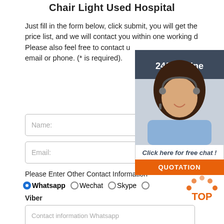Chair Light Used Hospital
Just fill in the form below, click submit, you will get the price list, and we will contact you within one working day. Please also feel free to contact us via email or phone. (* is required).
[Figure (infographic): 24/7 Online chat widget with female customer service agent photo, 'Click here for free chat!' text, and QUOTATION button in orange]
Name:
Email:
Please Enter Other Contact Information
Whatsapp (selected), Wechat, Skype, Viber
Contact information Whatsapp
Phone:
[Figure (infographic): TOP scroll-to-top icon with orange dots and text]